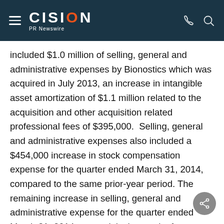CISION PR Newswire
included $1.0 million of selling, general and administrative expenses by Bionostics which was acquired in July 2013, an increase in intangible asset amortization of $1.1 million related to the acquisition and other acquisition related professional fees of $395,000.  Selling, general and administrative expenses also included a $454,000 increase in stock compensation expense for the quarter ended March 31, 2014, compared to the same prior-year period. The remaining increase in selling, general and administrative expense for the quarter ended March 31, 2014 was mainly the result of an investment in commercial resources and administrative infrastructure in the third quarter of fiscal 2013…